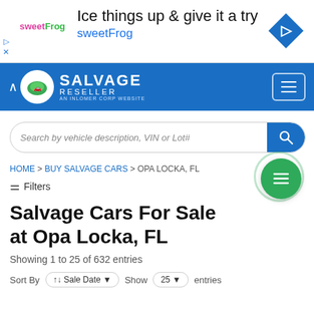[Figure (screenshot): Advertisement banner for sweetFrog frozen yogurt. Shows sweetFrog logo on left, headline 'Ice things up & give it a try', subtext 'sweetFrog' in blue, and a blue diamond navigation icon on the right.]
[Figure (logo): Salvage Reseller navigation bar with logo (green circle with car graphic), brand name 'SALVAGE RESELLER AN INLOMER CORP WEBSITE' in white on blue background, and hamburger menu button on right.]
[Figure (screenshot): Search bar with italic placeholder text 'Search by vehicle description, VIN or Lot#' and blue search button with magnifying glass icon.]
HOME > BUY SALVAGE CARS > OPA LOCKA, FL
≡ Filters
Salvage Cars For Sale at Opa Locka, FL
Showing 1 to 25 of 632 entries
Sort By   ↑↓ Sale Date ▼   Show   25 ▼   entries